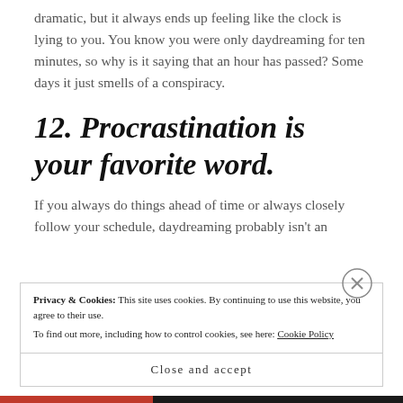dramatic, but it always ends up feeling like the clock is lying to you. You know you were only daydreaming for ten minutes, so why is it saying that an hour has passed? Some days it just smells of a conspiracy.
12. Procrastination is your favorite word.
If you always do things ahead of time or always closely follow your schedule, daydreaming probably isn't an
Privacy & Cookies: This site uses cookies. By continuing to use this website, you agree to their use. To find out more, including how to control cookies, see here: Cookie Policy
Close and accept